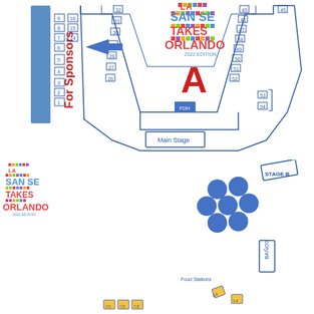[Figure (map): La Sanse Takes Orlando 2022 Edition venue map - top half showing main stage area with numbered vendor booths (1-54) arranged in a V-shape, sponsor area on left, FOH (Front of House) in center, and Main Stage at bottom. A large blue arrow points left toward booth 29. The letter A is shown in red in the center field area.]
[Figure (map): La Sanse Takes Orlando 2022 Edition venue map - bottom half showing Stage B, circular blue seating/tables arrangement, Food Stations areas, BAÑOS (restrooms), numbered vendor booths (60-80+), ARTESANOS area on right side, and yellow highlighted booths (C1-C4, C7, C8, L4) in lower left and center. A green triangle is visible in lower right area.]